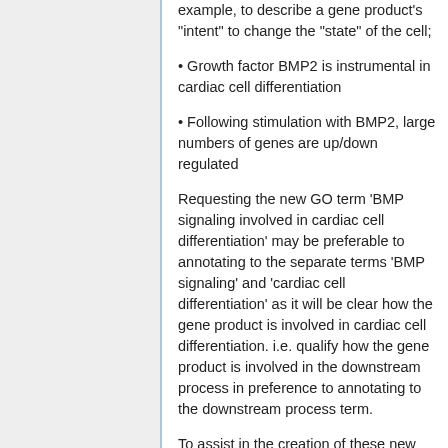example, to describe a gene product's "intent" to change the "state" of the cell;
Growth factor BMP2 is instrumental in cardiac cell differentiation
Following stimulation with BMP2, large numbers of genes are up/down regulated
Requesting the new GO term 'BMP signaling involved in cardiac cell differentiation' may be preferable to annotating to the separate terms 'BMP signaling' and 'cardiac cell differentiation' as it will be clear how the gene product is involved in cardiac cell differentiation. i.e. qualify how the gene product is involved in the downstream process in preference to annotating to the downstream process term.
To assist in the creation of these new